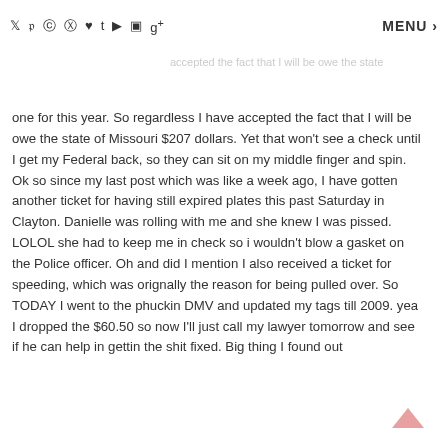y f p g ♥ t ▶ □ g+ MENU
suppose to be a bitch. Oh and cashing out stocks... hmmmmm will probably rethink that one for this year. So regardless I have accepted the fact that I will be owe the state of Missouri $207 dollars. Yet that won't see a check until I get my Federal back, so they can sit on my middle finger and spin. Ok so since my last post which was like a week ago, I have gotten another ticket for having still expired plates this past Saturday in Clayton. Danielle was rolling with me and she knew I was pissed. LOLOL she had to keep me in check so i wouldn't blow a gasket on the Police officer. Oh and did I mention I also received a ticket for speeding, which was orignally the reason for being pulled over. So TODAY I went to the phuckin DMV and updated my tags till 2009. yea I dropped the $60.50 so now I'll just call my lawyer tomorrow and see if he can help in gettin the shit fixed. Big thing I found out